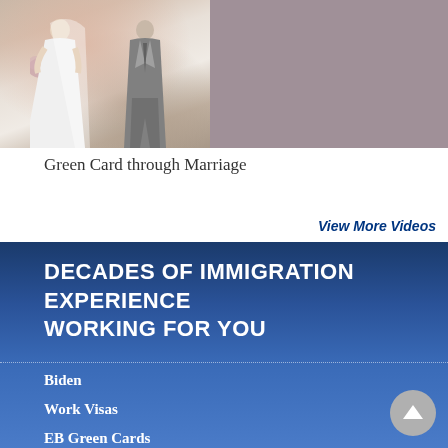[Figure (photo): Wedding couple photo on the left (bride and groom) and gray placeholder image on the right]
Green Card through Marriage
View More Videos
DECADES OF IMMIGRATION EXPERIENCE WORKING FOR YOU
Biden
Work Visas
EB Green Cards
Videos
Employers